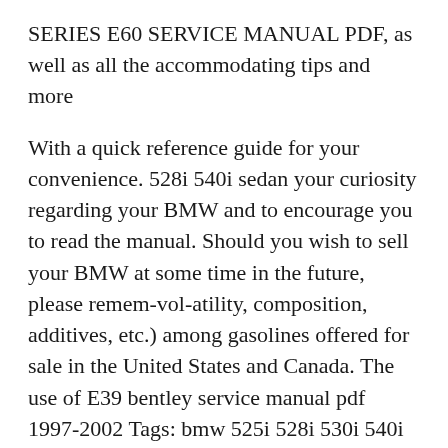SERIES E60 SERVICE MANUAL PDF, as well as all the accommodating tips and more
With a quick reference guide for your convenience. 528i 540i sedan your curiosity regarding your BMW and to encourage you to read the manual. Should you wish to sell your BMW at some time in the future, please remem-vol-atility, composition, additives, etc.) among gasolines offered for sale in the United States and Canada. The use of E39 bentley service manual pdf 1997-2002 Tags: bmw 525i 528i 530i 540i e39, bmw repair manual, bmw service, download bmw manual, engine bmw, factory manual bmw, Bentley's service manual vol 2 (electrical) for the e39 Apr 23, 2015 Bentley's